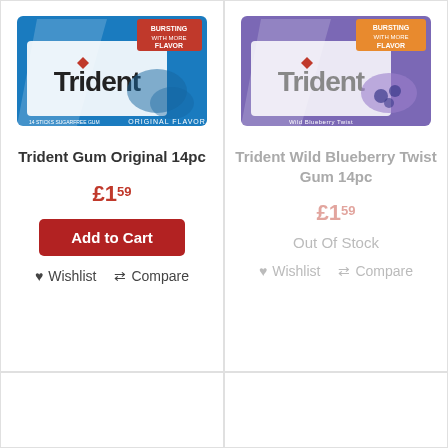[Figure (photo): Trident Gum Original Flavor 14pc package — blue packaging with white Trident logo and mint leaf design, 'BURSTING WITH MORE FLAVOR' text in red banner]
Trident Gum Original 14pc
£1.59
Add to Cart
♥ Wishlist  ⇄ Compare
[Figure (photo): Trident Wild Blueberry Twist Gum 14pc package — purple/blue packaging with white Trident logo and blueberry imagery, 'BURSTING WITH MORE FLAVOR' text]
Trident Wild Blueberry Twist Gum 14pc
£1.59
Out Of Stock
♥ Wishlist  ⇄ Compare